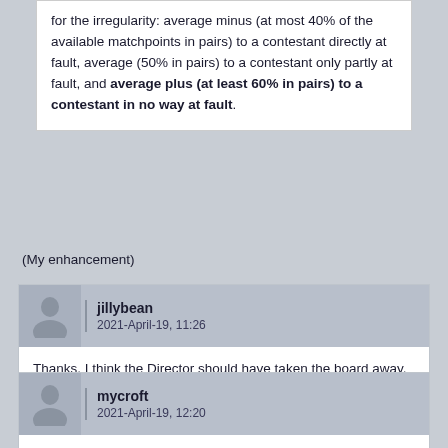for the irregularity: average minus (at most 40% of the available matchpoints in pairs) to a contestant directly at fault, average (50% in pairs) to a contestant only partly at fault, and average plus (at least 60% in pairs) to a contestant in no way at fault.
(My enhancement)
jillybean
2021-April-19, 11:26
Thanks. I think the Director should have taken the board away, corrected it and returned it for us to play but failing that, awarded Avg+.
For my benefit, under what circumstances would a Director change a board to 'not played', as was the case here?
mycroft
2021-April-19, 12:20
Depends on the regulations.